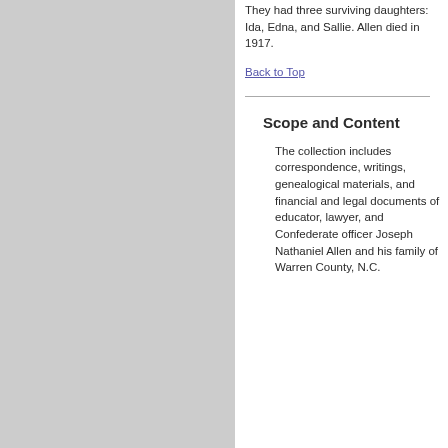They had three surviving daughters: Ida, Edna, and Sallie. Allen died in 1917.
Back to Top
Scope and Content
The collection includes correspondence, writings, genealogical materials, and financial and legal documents of educator, lawyer, and Confederate officer Joseph Nathaniel Allen and his family of Warren County, N.C.